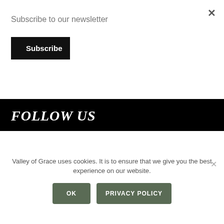Subscribe to our newsletter
Subscribe
FOLLOW US
[Figure (infographic): Social media icons: Facebook, Pinterest, Twitter, Instagram, LinkedIn, YouTube — white icons on black background]
[Figure (logo): Donate with PayPal button — gold/yellow gradient background with 'Donate with PayPal' text]
Valley of Grace uses cookies. It is to ensure that we give you the best experience on our website.
OK
PRIVACY POLICY